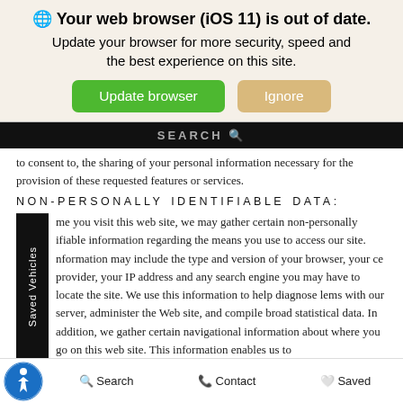🌐 Your web browser (iOS 11) is out of date. Update your browser for more security, speed and the best experience on this site.
[Figure (screenshot): Green 'Update browser' button and tan 'Ignore' button]
[Figure (screenshot): Black search bar with SEARCH text]
to consent to, the sharing of your personal information necessary for the provision of these requested features or services.
NON-PERSONALLY IDENTIFIABLE DATA:
me you visit this web site, we may gather certain non-personally ifiable information regarding the means you use to access our site. nformation may include the type and version of your browser, your ce provider, your IP address and any search engine you may have to locate the site. We use this information to help diagnose lems with our server, administer the Web site, and compile broad statistical data. In addition, we gather certain navigational information about where you go on this web site. This information enables us to
Search   Contact   Saved